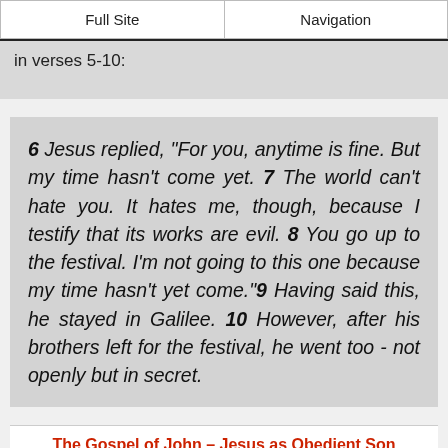Full Site | Navigation
in verses 5-10:
6 Jesus replied, “For you, anytime is fine. But my time hasn’t come yet. 7 The world can’t hate you. It hates me, though, because I testify that its works are evil. 8 You go up to the festival. I’m not going to this one because my time hasn’t yet come.”9 Having said this, he stayed in Galilee. 10 However, after his brothers left for the festival, he went too - not openly but in secret.
The Gospel of John – Jesus as Obedient Son
Only in this Gospel do we experience talking Jesus about how obedient